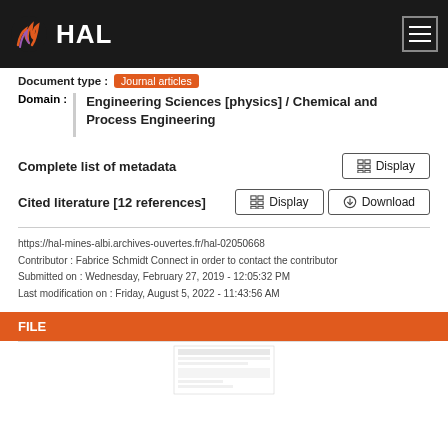HAL
Document type : Journal articles
Domain : Engineering Sciences [physics] / Chemical and Process Engineering
Complete list of metadata  Display
Cited literature [12 references]  Display  Download
https://hal-mines-albi.archives-ouvertes.fr/hal-02050668
Contributor : Fabrice Schmidt Connect in order to contact the contributor
Submitted on : Wednesday, February 27, 2019 - 12:05:32 PM
Last modification on : Friday, August 5, 2022 - 11:43:56 AM
FILE